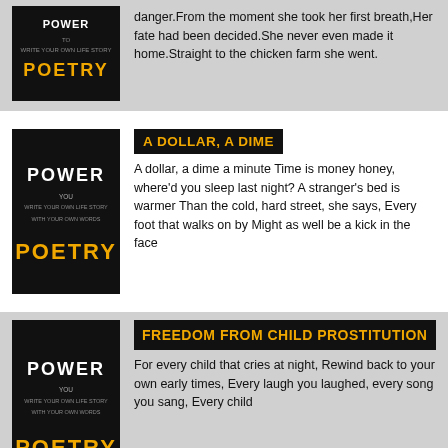danger.From the moment she took her first breath,Her fate had been decided.She never even made it home.Straight to the chicken farm she went.
[Figure (logo): Power Poetry logo - black background with stylized text POWER and POETRY in white/yellow letters]
A DOLLAR, A DIME
A dollar, a dime a minute Time is money honey, where'd you sleep last night? A stranger's bed is warmer Than the cold, hard street, she says, Every foot that walks on by Might as well be a kick in the face
[Figure (logo): Power Poetry logo - black background with stylized text POWER and POETRY in white/yellow letters]
FREEDOM FROM CHILD PROSTITUTION
For every child that cries at night, Rewind back to your own early times, Every laugh you laughed, every song you sang, Every child